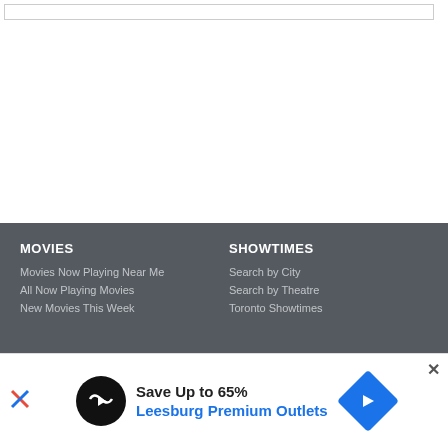[Figure (screenshot): Feedback tab on the right side of the page, cyan/teal colored with white vertical text reading FEEDBACK]
MOVIES | SHOWTIMES | Movies Now Playing Near Me | All Now Playing Movies | New Movies This Week | Search by City | Search by Theatre | Toronto Showtimes
[Figure (screenshot): Advertisement banner: Save Up to 65% Leesburg Premium Outlets with logo and navigation icon]